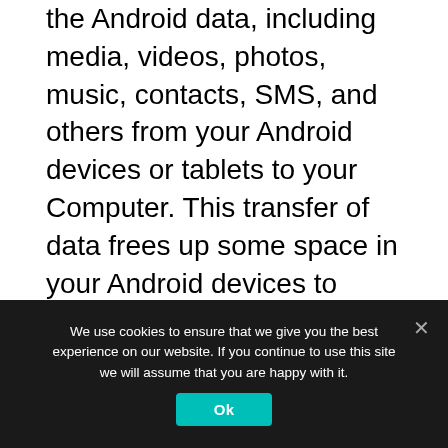the Android data, including media, videos, photos, music, contacts, SMS, and others from your Android devices or tablets to your Computer. This transfer of data frees up some space in your Android devices to store new data.
Coolmuster Android Assistant also helps the users to transfer data, including media, SMS, call logs, contacts, and more from the Computer to your Android devices just by one click. You can use USB or WiFi to connect your devices with the programs. However, if you want to connect using WiFi, you have to install the Android Assistant (Android version) on your devices.
We use cookies to ensure that we give you the best experience on our website. If you continue to use this site we will assume that you are happy with it.